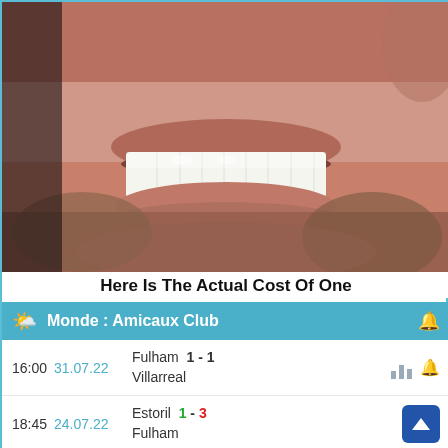[Figure (photo): Close-up photo of a man's mouth showing white teeth, upper lip and chin with stubble/beard hair]
Here Is The Actual Cost Of One
Monde : Amicaux Club
| Time | Date | Match | Score |  |
| --- | --- | --- | --- | --- |
| 16:00 | 31.07.22 | Fulham | 1 - 1 |  |
|  |  | Villarreal |  |  |
| 18:45 | 24.07.22 | Estoril | 1 - 3 |  |
|  |  | Fulham |  |  |
| 21:15 | 17.07.22 | Benfica | 5 - 1 |  |